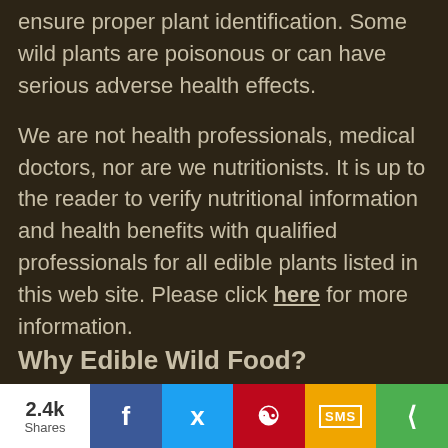ensure proper plant identification. Some wild plants are poisonous or can have serious adverse health effects.
We are not health professionals, medical doctors, nor are we nutritionists. It is up to the reader to verify nutritional information and health benefits with qualified professionals for all edible plants listed in this web site. Please click here for more information.
Why Edible Wild Food?
2.4k Shares | Facebook | Twitter | Pinterest | SMS | Share